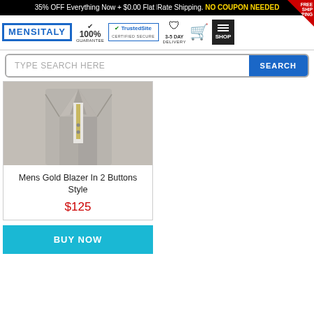35% OFF Everything Now + $0.00 Flat Rate Shipping. NO COUPON NEEDED
[Figure (logo): MENSITALY logo with 100% guarantee, TrustedSite Certified Secure, 3-5 Day Delivery, cart icon, and shop menu]
TYPE SEARCH HERE
[Figure (photo): Partial image of a Mens Gold Blazer in 2 Buttons Style]
Mens Gold Blazer In 2 Buttons Style
$125
BUY NOW